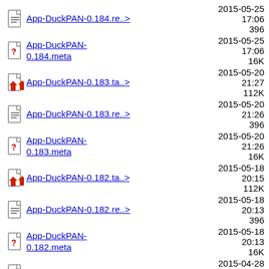App-DuckPAN-0.184.re..>  2015-05-25 17:06  396
App-DuckPAN-0.184.meta  2015-05-25 17:06  16K
App-DuckPAN-0.183.ta..>  2015-05-20 21:27  112K
App-DuckPAN-0.183.re..>  2015-05-20 21:26  396
App-DuckPAN-0.183.meta  2015-05-20 21:26  16K
App-DuckPAN-0.182.ta..>  2015-05-18 20:15  112K
App-DuckPAN-0.182.re..>  2015-05-18 20:13  396
App-DuckPAN-0.182.meta  2015-05-18 20:13  16K
App-DuckPAN-0.181.ta..>  2015-04-28 12:49  110K
App-DuckPAN-0.181.re..>  2015-04-28 12:49  396
App-DuckPAN-0.181.meta  2015-04-28 12:49  16K